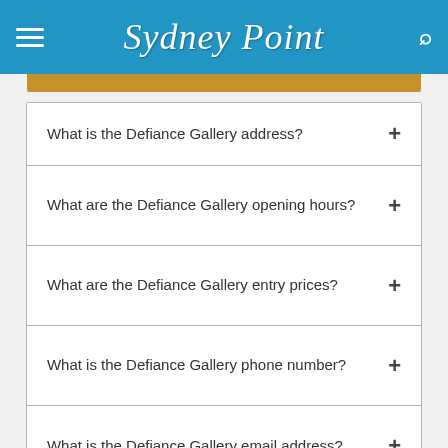Sydney Point
What is the Defiance Gallery address?
What are the Defiance Gallery opening hours?
What are the Defiance Gallery entry prices?
What is the Defiance Gallery phone number?
What is the Defiance Gallery email address?
Weather Forecast